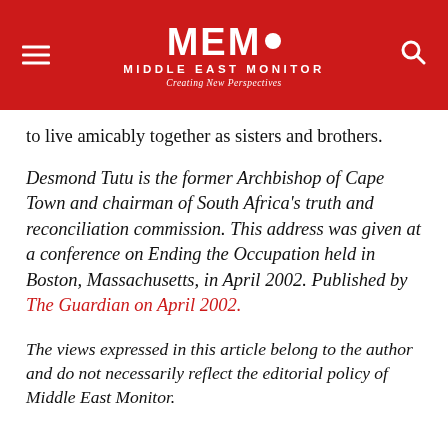MEMO Middle East Monitor — Creating New Perspectives
to live amicably together as sisters and brothers.
Desmond Tutu is the former Archbishop of Cape Town and chairman of South Africa's truth and reconciliation commission. This address was given at a conference on Ending the Occupation held in Boston, Massachusetts, in April 2002. Published by The Guardian on April 2002.
The views expressed in this article belong to the author and do not necessarily reflect the editorial policy of Middle East Monitor.